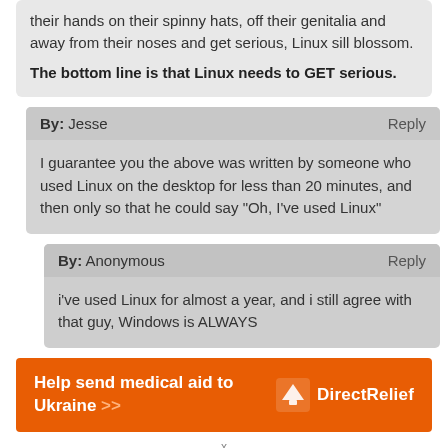their hands on their spinny hats, off their genitalia and away from their noses and get serious, Linux sill blossom. The bottom line is that Linux needs to GET serious.
By: Jesse  Reply
I guarantee you the above was written by someone who used Linux on the desktop for less than 20 minutes, and then only so that he could say "Oh, I've used Linux"
By: Anonymous  Reply
i've used Linux for almost a year, and i still agree with that guy, Windows is ALWAYS
[Figure (infographic): Orange advertisement banner: 'Help send medical aid to Ukraine >>' with Direct Relief logo on the right.]